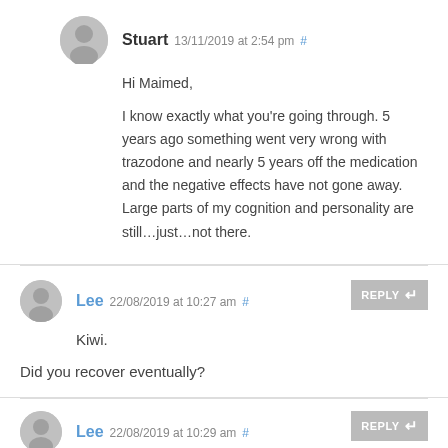Stuart 13/11/2019 at 2:54 pm #
Hi Maimed,
I know exactly what you're going through. 5 years ago something went very wrong with trazodone and nearly 5 years off the medication and the negative effects have not gone away. Large parts of my cognition and personality are still…just…not there.
Lee 22/08/2019 at 10:27 am #
Kiwi.
Did you recover eventually?
Lee 22/08/2019 at 10:29 am #